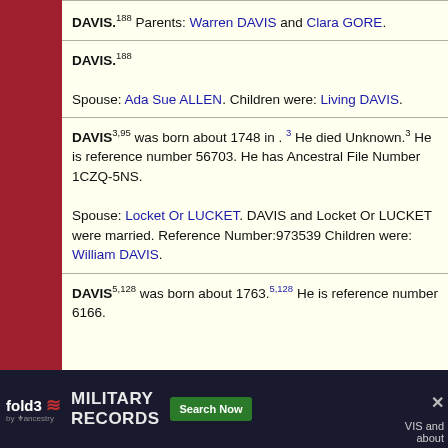DAVIS.188 Parents: Warren DAVIS and Clara GORE.
DAVIS.188 Spouse: Ada Sue ALLEN. Children were: Living DAVIS.
DAVIS3,95 was born about 1748 in .3 He died Unknown.3 He is reference number 56703. He has Ancestral File Number 1CZQ-5NS. Spouse: Locket Or LUCKET. DAVIS and Locket Or LUCKET were married. Reference Number:973539 Children were: William DAVIS.
DAVIS5,128 was born about 1763.5,128 He is reference number 6166.
[Figure (infographic): fold3 by Ancestry advertisement banner for Military Records with Search Now button]